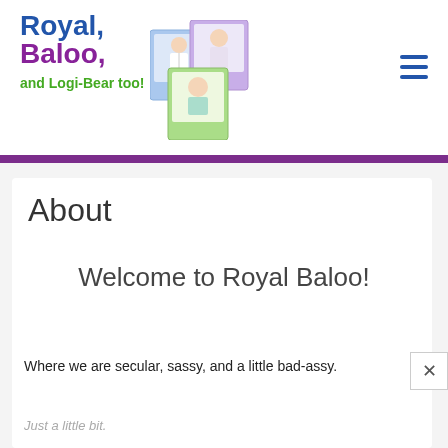[Figure (logo): Royal, Baloo, and Logi-Bear too! blog logo with hand-drawn polaroid photo illustrations of children]
About
Welcome to Royal Baloo!
Where we are secular, sassy, and a little bad-assy.
Just a little bit.